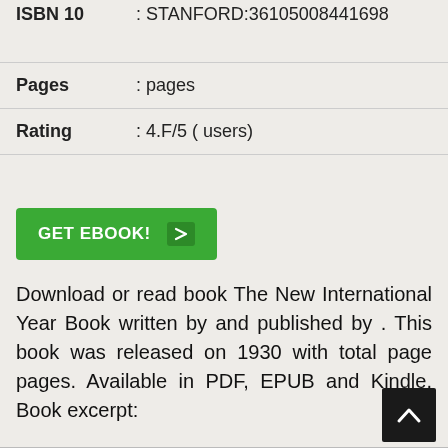| Field | Value |
| --- | --- |
| ISBN 10 | : STANFORD:36105008441698 |
| Pages | : pages |
| Rating | : 4.F/5 ( users) |
[Figure (other): Green GET EBOOK! button with arrow icon]
Download or read book The New International Year Book written by and published by . This book was released on 1930 with total page pages. Available in PDF, EPUB and Kindle. Book excerpt: